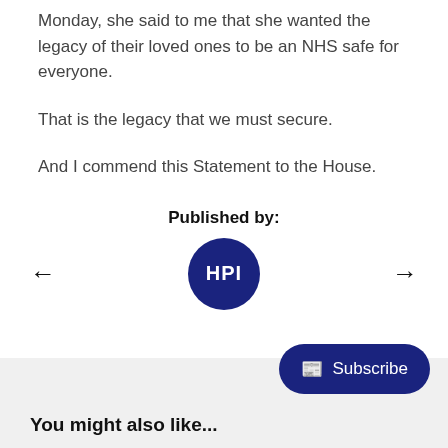Monday, she said to me that she wanted the legacy of their loved ones to be an NHS safe for everyone.
That is the legacy that we must secure.
And I commend this Statement to the House.
Published by:
[Figure (logo): Dark blue circle with white text 'HPI' inside]
You might also like...